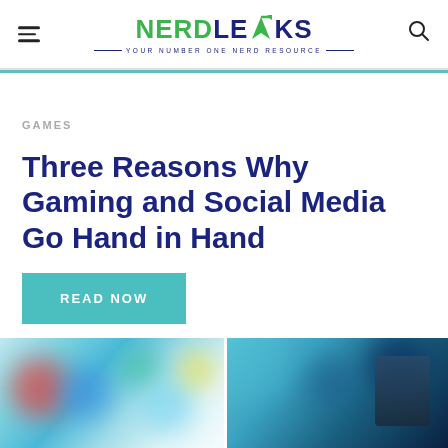NERDLEAKS — YOUR NUMBER ONE NERD RESOURCE
GAMES
Three Reasons Why Gaming and Social Media Go Hand in Hand
READ NOW
[Figure (photo): Bottom strip showing two blurred gaming/colorful images side by side]